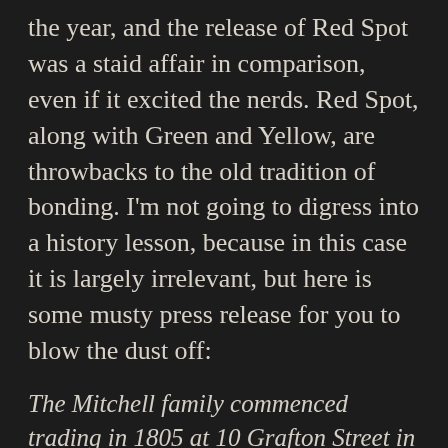the year, and the release of Red Spot was a staid affair in comparison, even if it excited the nerds. Red Spot, along with Green and Yellow, are throwbacks to the old tradition of bonding. I'm not going to digress into a history lesson, because in this case it is largely irrelevant, but here is some musty press release for you to blow the dust off:
The Mitchell family commenced trading in 1805 at 10 Grafton Street in the heart of Dublin as purveyors of fine wine and confectionery. In 1887, the business expanded into whiskey bonding whereby it sent empty wine and fortified wine casks